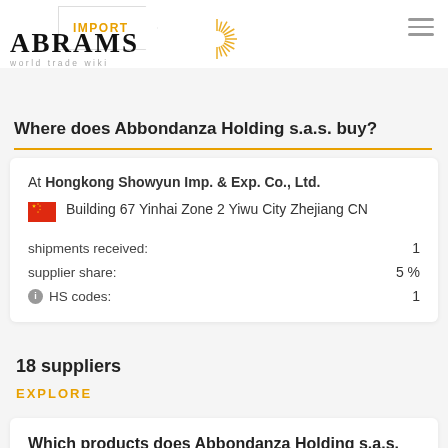IMPORT | ABRAMS world trade wiki
Where does Abbondanza Holding s.a.s. buy?
At Hongkong Showyun Imp. & Exp. Co., Ltd.
Building 67 Yinhai Zone 2 Yiwu City Zhejiang CN
shipments received: 1
supplier share: 5 %
HS codes: 1
18 suppliers
EXPLORE
Which products does Abbondanza Holding s.a.s.